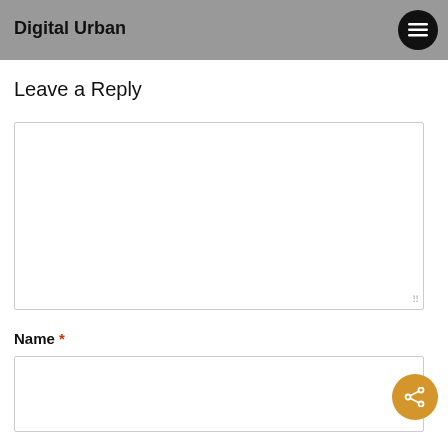Digital Urban
Leave a Reply
Comment textarea (empty)
Name *
Name input field (empty)